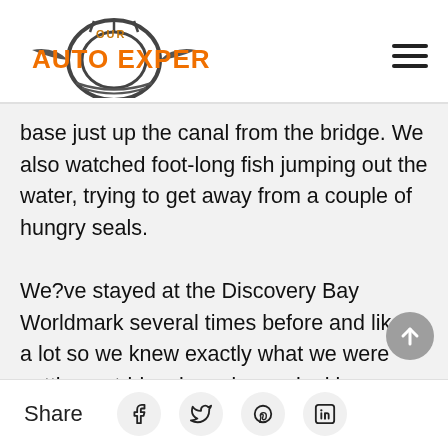[Figure (logo): Our Auto Expert logo with orange text and circular gear/tire graphic]
base just up the canal from the bridge. We also watched foot-long fish jumping out the water, trying to get away from a couple of hungry seals.
We?ve stayed at the Discovery Bay Worldmark several times before and liked a lot so we knew exactly what we were getting; a tri-level condo overlooking
Share